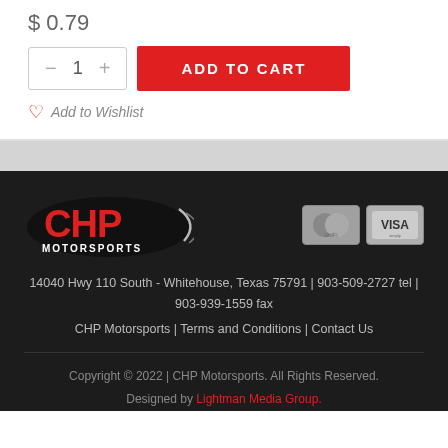$ 0.79
— 1 + ADD TO CART
Add to Wishlist
[Figure (logo): CHP Motorsports logo in red and white on dark background, oval shape with speed lines]
[Figure (other): Payment icons: Mastercard and Visa credit card logos in grayscale]
14040 Hwy 110 South - Whitehouse, Texas 75791 | 903-509-2727 tel | 903-939-1559 fax
CHP Motorsports | Terms and Conditions | Contact Us
Copyright © 2022 | CHP Motorsports. All Rights Reserved. Designed by Lightman Media Group.